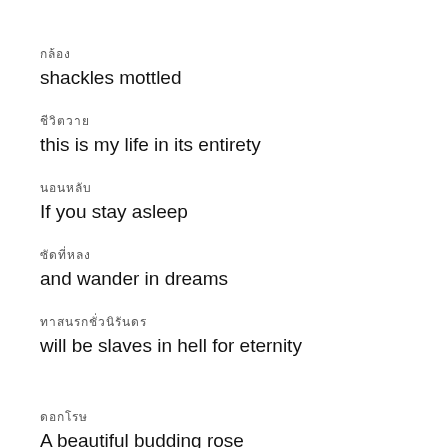□□□□□
shackles mottled
□□□□□□□□
this is my life in its entirety
□□□□□
If you stay asleep
□□□□□□
and wander in dreams
□□□□□□□□
will be slaves in hell for eternity
□□□□□
A beautiful budding rose